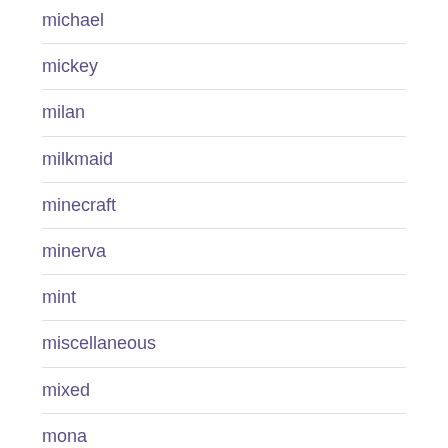michael
mickey
milan
milkmaid
minecraft
minerva
mint
miscellaneous
mixed
mona